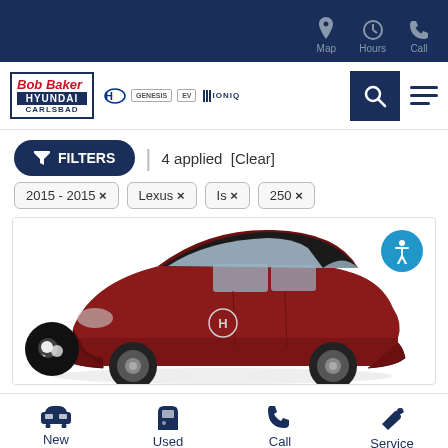Map  Hours  Call — Bob Baker Hyundai Carlsbad navigation bar
[Figure (logo): Bob Baker Hyundai Carlsbad logo with Hyundai, Genesis, sub-brand logos, search and menu icons]
FILTERS  4 applied  [Clear]
2015 - 2015 ×
Lexus ×
Is ×
250 ×
[Figure (photo): Dark red Honda Civic sedan, three-quarter front view on white background, with accessibility icon button in top right and chat button in bottom left]
New   Used   Call   Service